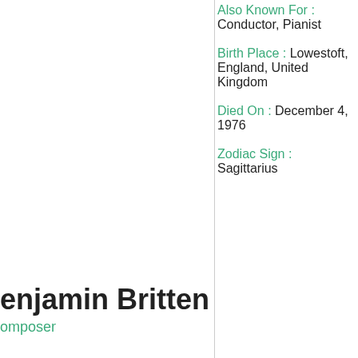Also Known For : Conductor, Pianist
Birth Place : Lowestoft, England, United Kingdom
Died On : December 4, 1976
Zodiac Sign : Sagittarius
Benjamin Britten
Composer